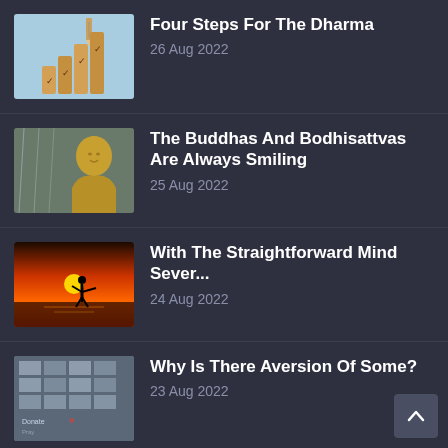Four Steps For The Dharma
26 Aug 2022
The Buddhas And Bodhisattvas Are Always Smiling
25 Aug 2022
With The Straightforward Mind Sever...
24 Aug 2022
Why Is There Aversion Of Some?
23 Aug 2022
How Justice Was Served To 'My...
22 Aug 2022